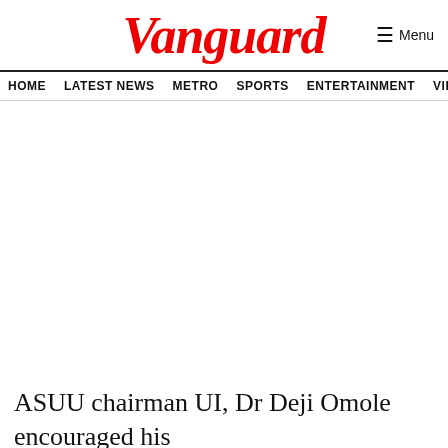Vanguard
HOME LATEST NEWS METRO SPORTS ENTERTAINMENT VIDEOS
ASUU chairman UI, Dr Deji Omole encouraged his